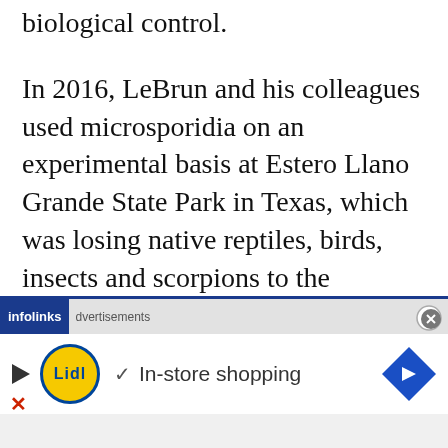biological control.
In 2016, LeBrun and his colleagues used microsporidia on an experimental basis at Estero Llano Grande State Park in Texas, which was losing native reptiles, birds, insects and scorpions to the invasive ants. “They had a crazy ant infestation, and it was apocalyptic — rivers of ants going up and down every tree,” LeBrun said.
[Figure (screenshot): Infolinks advertisement banner with Lidl logo and 'In-store shopping' text with arrow icon]